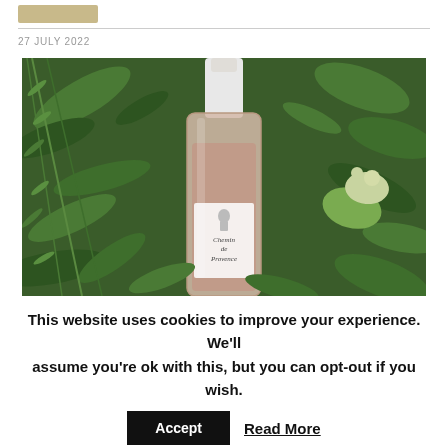27 JULY 2022
[Figure (photo): A rosé wine bottle labeled 'Chemin de Provence' lying on a bed of green rosemary and other Mediterranean herbs and plants.]
This website uses cookies to improve your experience. We'll assume you're ok with this, but you can opt-out if you wish.
Accept   Read More